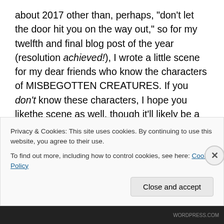about 2017 other than, perhaps, “don’t let the door hit you on the way out,” so for my twelfth and final blog post of the year (resolution achieved!), I wrote a little scene for my dear friends who know the characters of MISBEGOTTEN CREATURES. If you don’t know these characters, I hope you likethe scene as well, though it’ll likely be a bit confusing, just because I didn’t want to spoil many details from the book. This is a little prequel scene from around eight or nine months before the story starts, actually, and the protagonist of MC isn’t actually in it (sorry, Millie).
Instead, it’s told from the POV of Rosie, by special request
Privacy & Cookies: This site uses cookies. By continuing to use this website, you agree to their use.
To find out more, including how to control cookies, see here: Cookie Policy
Close and accept